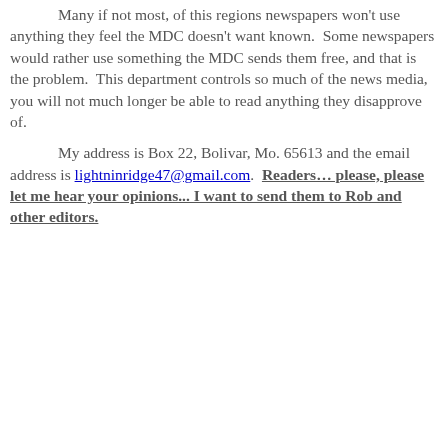Many if not most, of this regions newspapers won't use anything they feel the MDC doesn't want known. Some newspapers would rather use something the MDC sends them free, and that is the problem. This department controls so much of the news media, you will not much longer be able to read anything they disapprove of.
My address is Box 22, Bolivar, Mo. 65613 and the email address is lightninridge47@gmail.com. Readers... please, please let me hear your opinions... I want to send them to Rob and other editors.